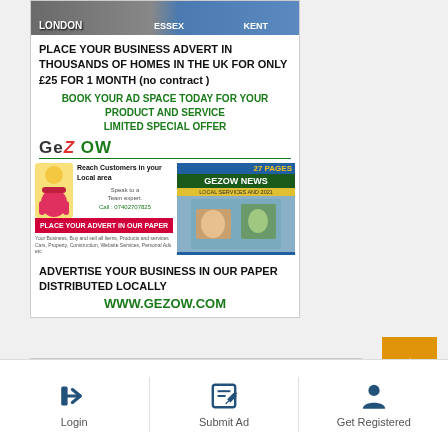[Figure (infographic): Advertisement for Gezow.com - place business adverts in thousands of UK homes for £25 for 1 month. Includes company logo, imagery of newspaper, cartoon character, and inner ad details.]
[Figure (infographic): Second advertisement block with green border: 'Place your Advert Here for free' and partial text below.]
[Figure (other): Orange scroll-to-top button with double chevron up arrows]
Login
Submit Ad
Get Registered